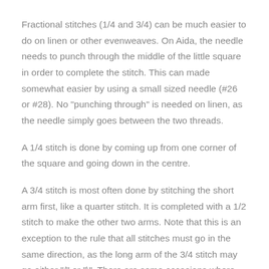Fractional stitches (1/4 and 3/4) can be much easier to do on linen or other evenweaves. On Aida, the needle needs to punch through the middle of the little square in order to complete the stitch. This can made somewhat easier by using a small sized needle (#26 or #28). No "punching through" is needed on linen, as the needle simply goes between the two threads.
A 1/4 stitch is done by coming up from one corner of the square and going down in the centre.
A 3/4 stitch is most often done by stitching the short arm first, like a quarter stitch. It is completed with a 1/2 stitch to make the other two arms. Note that this is an exception to the rule that all stitches must go in the same direction, as the long arm of the 3/4 stitch may go either "/" or "\". There are some occasions where people choose to do the 1/2 stitch first and anchor it